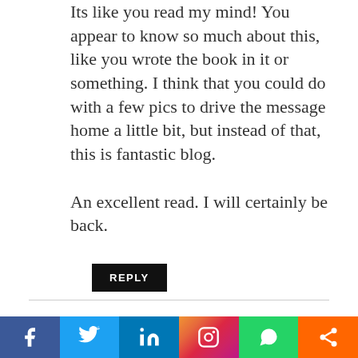Its like you read my mind! You appear to know so much about this, like you wrote the book in it or something. I think that you could do with a few pics to drive the message home a little bit, but instead of that, this is fantastic blog.

An excellent read. I will certainly be back.
REPLY
Eileen